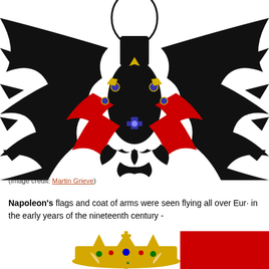[Figure (illustration): German Imperial Eagle heraldic illustration — a large black double-headed eagle with spread wings, red talons, golden ornaments, blue medallions, and decorative scrollwork. The eagle occupies most of the upper portion of the page cropped at top and sides.]
(image credit: Martin Grieve)
Napoleon's flags and coat of arms were seen flying all over Euro- in the early years of the nineteenth century -
[Figure (illustration): Bottom portion of page showing two heraldic images: on the left a golden crown with decorative elements and red background, and on the right a red rectangle (partial flag or banner).]